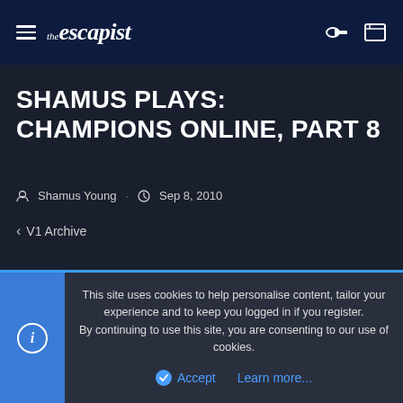the escapist
SHAMUS PLAYS: CHAMPIONS ONLINE, PART 8
Shamus Young · Sep 8, 2010
< V1 Archive
Shamus Young
New member
This site uses cookies to help personalise content, tailor your experience and to keep you logged in if you register.
By continuing to use this site, you are consenting to our use of cookies.
Accept  Learn more...